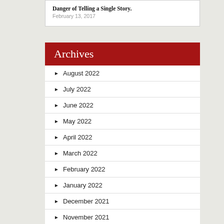Danger of Telling a Single Story.
February 13, 2017
Archives
August 2022
July 2022
June 2022
May 2022
April 2022
March 2022
February 2022
January 2022
December 2021
November 2021
October 2021